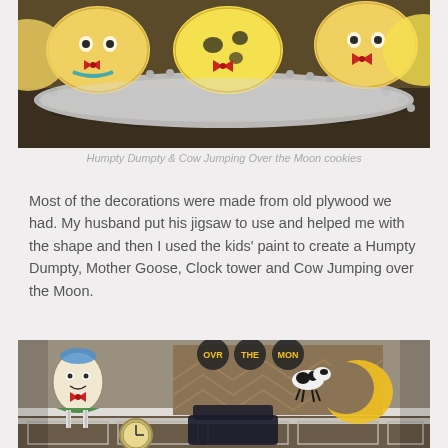[Figure (photo): Decorated sugar cookies on a silver beaded tray. Cookies depict Humpty Dumpty and Cow Jumping Over the Moon characters with colorful icing.]
Humpty Dumpty & Cow Jumping Over the Moon cookies
Most of the decorations were made from old plywood we had. My husband put his jigsaw to use and helped me with the shape and then I used the kids' paint to create a Humpty Dumpty, Mother Goose, Clock tower and Cow Jumping over the Moon.
[Figure (photo): Party room wall decorated with hand-painted nursery rhyme plywood cutouts including Humpty Dumpty and a cow jumping over the moon on a chevron wood panel backdrop, with a clock visible in the foreground.]